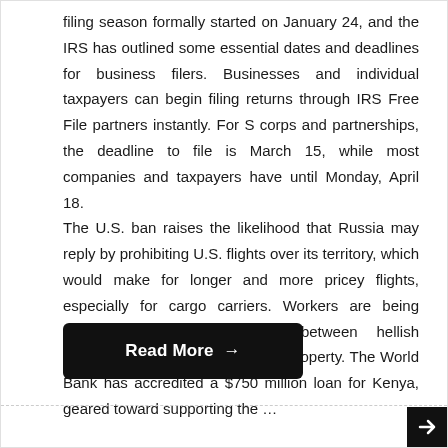filing season formally started on January 24, and the IRS has outlined some essential dates and deadlines for business filers. Businesses and individual taxpayers can begin filing returns through IRS Free File partners instantly. For S corps and partnerships, the deadline to file is March 15, while most companies and taxpayers have until Monday, April 18.
The U.S. ban raises the likelihood that Russia may reply by prohibiting U.S. flights over its territory, which would make for longer and more pricey flights, especially for cargo carriers. Workers are being requested to determine on between hellish commutes or unaffordable actual property. The World Bank has accredited a $750 million loan for Kenya, geared toward supporting the …
Read More →